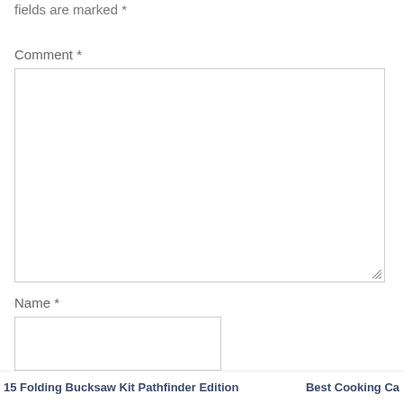fields are marked *
Comment *
[Figure (other): Comment text area input box (empty)]
Name *
[Figure (other): Name text input box (empty)]
15 Folding Bucksaw Kit Pathfinder Edition    Best Cooking Ca